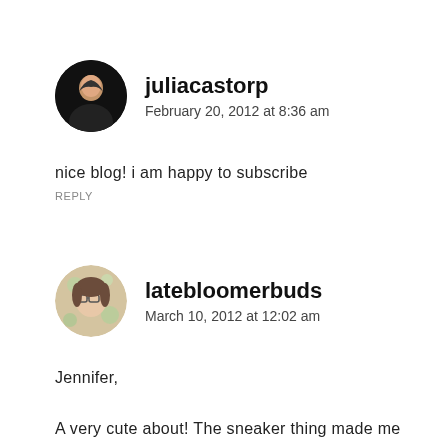[Figure (photo): Round avatar of juliacastorp, dark background with a woman silhouette]
juliacastorp
February 20, 2012 at 8:36 am
nice blog! i am happy to subscribe
REPLY
[Figure (photo): Round avatar of latebloomerbuds, woman with glasses on floral background]
latebloomerbuds
March 10, 2012 at 12:02 am
Jennifer,

A very cute about! The sneaker thing made me think of Father of the Bride! I totally get why you blog. Me too. It is addictive. I have so much fun kibitzing with my readers and it make me